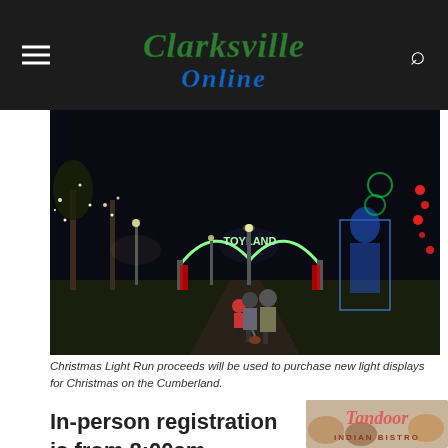Clarksville Online
[Figure (photo): Night scene of Christmas on the Cumberland park with illuminated 'Toyland' arch, Christmas light displays, and people walking along a pathway surrounded by festive lights]
Christmas Light Run proceeds will be used to purchase new light displays for Christmas on the Cumberland.
In-person registration is from 8:00am
[Figure (photo): Tandoor Indian Bistro advertisement photo showing food dishes with restaurant logo text overlay]